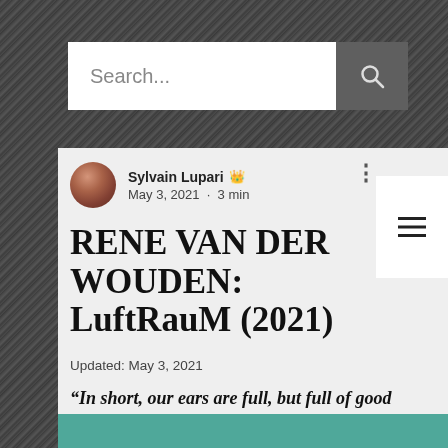[Figure (screenshot): Dark textured stone/concrete background]
Search...
Sylvain Lupari  May 3, 2021 · 3 min
RENE VAN DER WOUDEN: LuftRauM (2021)
Updated: May 3, 2021
“In short, our ears are full, but full of good things”